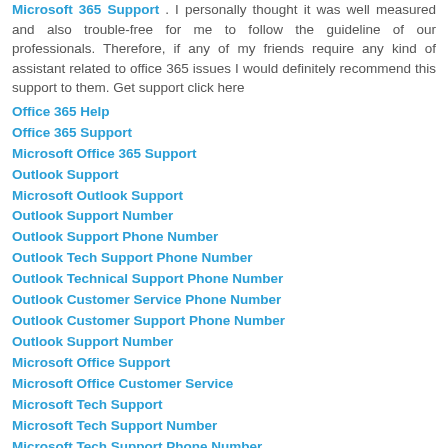Microsoft 365 Support . I personally thought it was well measured and also trouble-free for me to follow the guideline of our professionals. Therefore, if any of my friends require any kind of assistant related to office 365 issues I would definitely recommend this support to them. Get support click here
Office 365 Help
Office 365 Support
Microsoft Office 365 Support
Outlook Support
Microsoft Outlook Support
Outlook Support Number
Outlook Support Phone Number
Outlook Tech Support Phone Number
Outlook Technical Support Phone Number
Outlook Customer Service Phone Number
Outlook Customer Support Phone Number
Outlook Support Number
Microsoft Office Support
Microsoft Office Customer Service
Microsoft Tech Support
Microsoft Tech Support Number
Microsoft Tech Support Phone Number